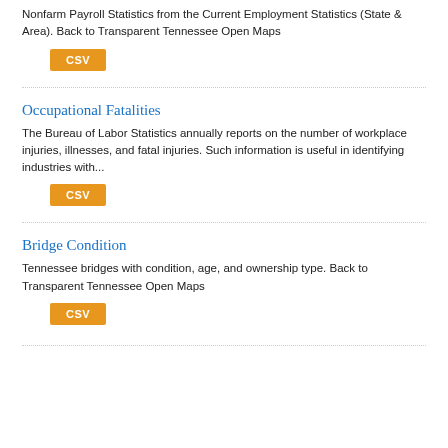Nonfarm Payroll Statistics from the Current Employment Statistics (State & Area). Back to Transparent Tennessee Open Maps
CSV
Occupational Fatalities
The Bureau of Labor Statistics annually reports on the number of workplace injuries, illnesses, and fatal injuries. Such information is useful in identifying industries with...
CSV
Bridge Condition
Tennessee bridges with condition, age, and ownership type. Back to Transparent Tennessee Open Maps
CSV